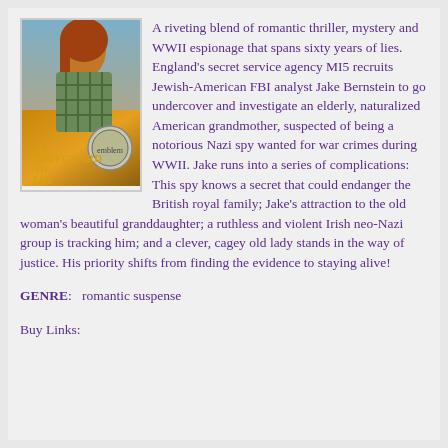[Figure (illustration): Book cover for 'A Bodyguard of Lies' showing a woman in a plaid shirt with golden/yellow tones and a decorative circular emblem]
A riveting blend of romantic thriller, mystery and WWII espionage that spans sixty years of lies. England's secret service agency MI5 recruits Jewish-American FBI analyst Jake Bernstein to go undercover and investigate an elderly, naturalized American grandmother, suspected of being a notorious Nazi spy wanted for war crimes during WWII. Jake runs into a series of complications: This spy knows a secret that could endanger the British royal family; Jake's attraction to the old woman's beautiful granddaughter; a ruthless and violent Irish neo-Nazi group is tracking him; and a clever, cagey old lady stands in the way of justice. His priority shifts from finding the evidence to staying alive!
GENRE:   romantic suspense
Buy Links: